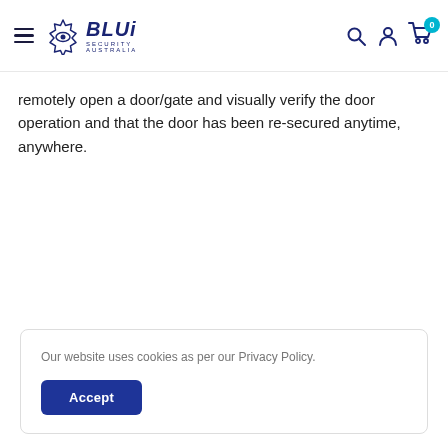BLUi Security Australia – navigation header with hamburger menu, logo, search, account, and cart icons
remotely open a door/gate and visually verify the door operation and that the door has been re-secured anytime, anywhere.
Our website uses cookies as per our Privacy Policy.
Accept